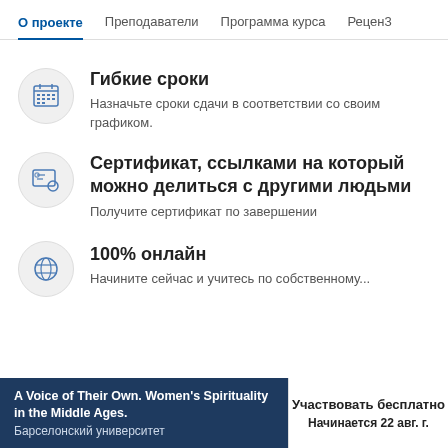О проекте  Преподаватели  Программа курса  Рецен3
Гибкие сроки — Назначьте сроки сдачи в соответствии со своим графиком.
Сертификат, ссылками на который можно делиться с другими людьми — Получите сертификат по завершении
100% онлайн — Начините сейчас и учитесь по собственному...
A Voice of Their Own. Women's Spirituality in the Middle Ages. Барселонский университет
Участвовать бесплатно
Начинается 22 авг. г.